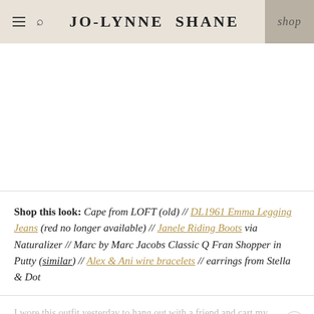JO-LYNNE SHANE | shop
Shop this look: Cape from LOFT (old) // DL1961 Emma Legging Jeans (red no longer available) // Janele Riding Boots via Naturalizer // Marc by Marc Jacobs Classic Q Fran Shopper in Putty (similar) // Alex & Ani wire bracelets // earrings from Stella & Dot
I wore this outfit yesterday to hang out with a friend and cart my kids around after school. I picked up this